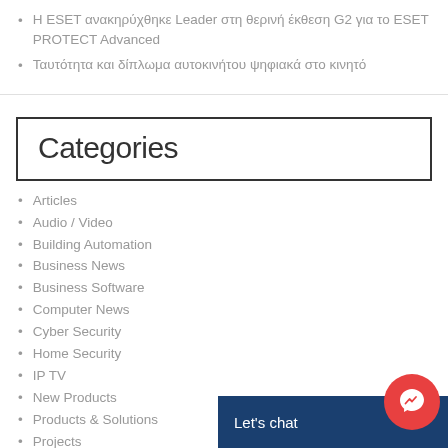Η ESET ανακηρύχθηκε Leader στη θερινή έκθεση G2 για το ESET PROTECT Advanced
Ταυτότητα και δίπλωμα αυτοκινήτου ψηφιακά στο κινητό
Categories
Articles
Audio / Video
Building Automation
Business News
Business Software
Computer News
Cyber Security
Home Security
IP TV
New Products
Products & Solutions
Projects
Tips